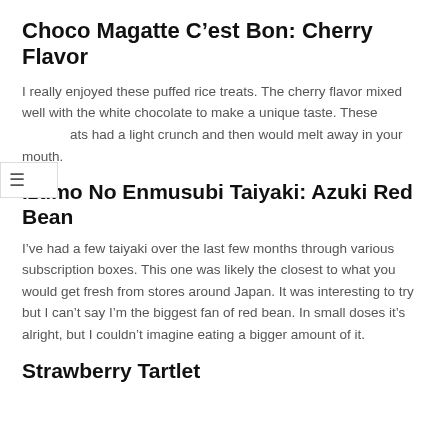Choco Magatte C’est Bon: Cherry Flavor
I really enjoyed these puffed rice treats. The cherry flavor mixed well with the white chocolate to make a unique taste. These treats had a light crunch and then would melt away in your mouth.
Izumo No Enmusubi Taiyaki: Azuki Red Bean
I’ve had a few taiyaki over the last few months through various subscription boxes. This one was likely the closest to what you would get fresh from stores around Japan. It was interesting to try but I can’t say I’m the biggest fan of red bean. In small doses it’s alright, but I couldn’t imagine eating a bigger amount of it.
Strawberry Tartlet